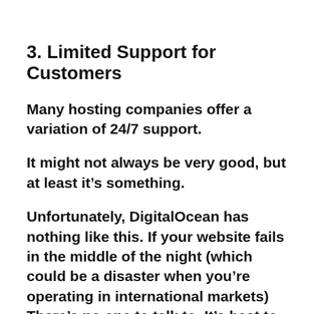3. Limited Support for Customers
Many hosting companies offer a variation of 24/7 support.
It might not always be very good, but at least it’s something.
Unfortunately, DigitalOcean has nothing like this. If your website fails in the middle of the night (which could be a disaster when you’re operating in international markets) There’s no one to talk to. It’s best to visit their website